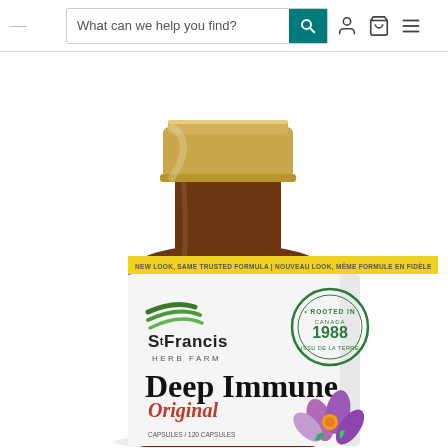What can we help you find?
[Figure (photo): A photograph of a St. Francis Herb Farm 'Deep Immune Original' supplement product in a brown glass bottle with a gold cap and white label. The label features the St. Francis Herb Farm logo with green leaf swooshes, a circular 'Rooted in Canada 1988' badge, a yellow banner reading 'NEW LOOK SAME TRUSTED FORMULA | NOUVEAU LOOK, MÊME FORMULE EN FIDÈLE', the product name 'Deep Immune' in large bold black text, 'Original' in red italic text below, and a purple flower illustration at the bottom right.]